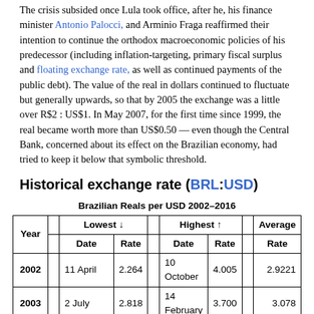The crisis subsided once Lula took office, after he, his finance minister Antonio Palocci, and Arminio Fraga reaffirmed their intention to continue the orthodox macroeconomic policies of his predecessor (including inflation-targeting, primary fiscal surplus and floating exchange rate, as well as continued payments of the public debt). The value of the real in dollars continued to fluctuate but generally upwards, so that by 2005 the exchange was a little over R$2 : US$1. In May 2007, for the first time since 1999, the real became worth more than US$0.50 — even though the Central Bank, concerned about its effect on the Brazilian economy, had tried to keep it below that symbolic threshold.
Historical exchange rate (BRL:USD)
Brazilian Reals per USD 2002–2016
| Year | Lowest ↓ Date | Lowest ↓ Rate | Highest ↑ Date | Highest ↑ Rate | Average Rate |
| --- | --- | --- | --- | --- | --- |
| 2002 | 11 April | 2.264 | 10 October | 4.005 | 2.9221 |
| 2003 | 2 July | 2.818 | 14 February | 3.700 | 3.078 |
| 2004 | 30 December | 2.654 | 22 May | 3.242 | 2.926 |
| 2005 | 11 November | 2.163 | 15 March | 2.766 | 2.4349 |
| 2006 | 5 May | 2.056 | 24 May | 2.405 | 2.1782 |